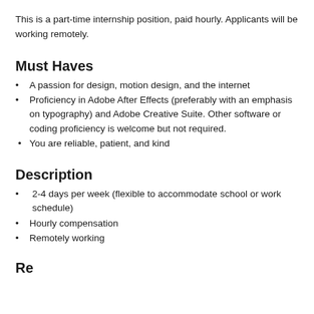This is a part-time internship position, paid hourly. Applicants will be working remotely.
Must Haves
A passion for design, motion design, and the internet
Proficiency in Adobe After Effects (preferably with an emphasis on typography) and Adobe Creative Suite. Other software or coding proficiency is welcome but not required.
You are reliable, patient, and kind
Description
2-4 days per week (flexible to accommodate school or work schedule)
Hourly compensation
Remotely working
Re...